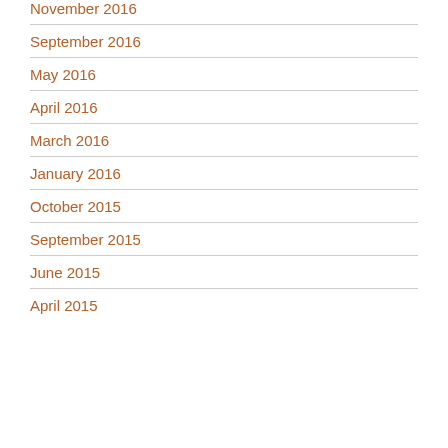November 2016
September 2016
May 2016
April 2016
March 2016
January 2016
October 2015
September 2015
June 2015
April 2015